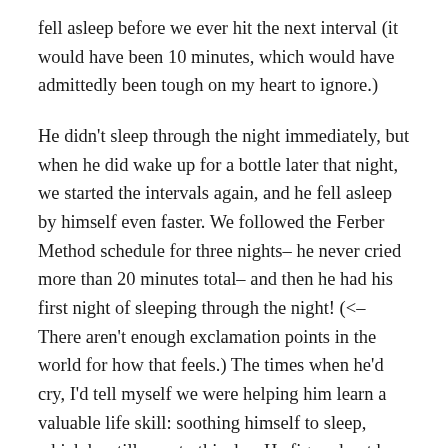fell asleep before we ever hit the next interval (it would have been 10 minutes, which would have admittedly been tough on my heart to ignore.)

He didn't sleep through the night immediately, but when he did wake up for a bottle later that night, we started the intervals again, and he fell asleep by himself even faster. We followed the Ferber Method schedule for three nights– he never cried more than 20 minutes total– and then he had his first night of sleeping through the night! (<– There aren't enough exclamation points in the world for how that feels.) The times when he'd cry, I'd tell myself we were helping him learn a valuable life skill: soothing himself to sleep, which he still uses to this day. He figured out how to stick the first two fingers of his right hand in his mouth and calm himself